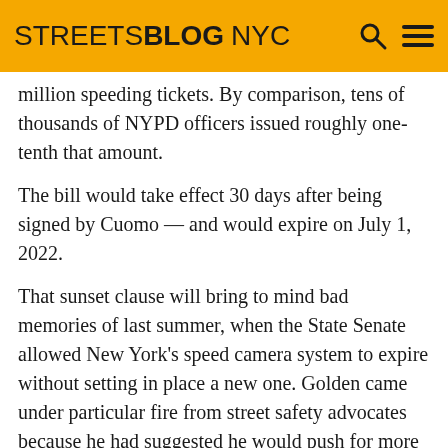STREETSBLOG NYC
million speeding tickets. By comparison, tens of thousands of NYPD officers issued roughly one-tenth that amount.
The bill would take effect 30 days after being signed by Cuomo — and would expire on July 1, 2022.
That sunset clause will bring to mind bad memories of last summer, when the State Senate allowed New York's speed camera system to expire without setting in place a new one. Golden came under particular fire from street safety advocates because he had suggested he would push for more cameras, but then backed off — a flip-flop that became a critical issue in his subsequent defeat by Gounardes in November.